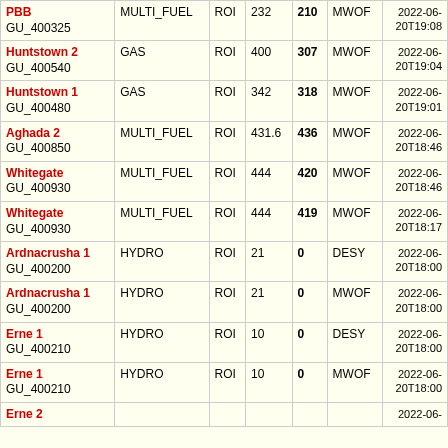| Name/GU | Fuel | Region | Cap | Output | SO | Timestamp |
| --- | --- | --- | --- | --- | --- | --- |
| PBB
GU_400325 | MULTI_FUEL | ROI | 232 | 210 | MWOF | 2022-06-20T19:08 |
| Huntstown 2
GU_400540 | GAS | ROI | 400 | 307 | MWOF | 2022-06-20T19:04 |
| Huntstown 1
GU_400480 | GAS | ROI | 342 | 318 | MWOF | 2022-06-20T19:01 |
| Aghada 2
GU_400850 | MULTI_FUEL | ROI | 431.6 | 436 | MWOF | 2022-06-20T18:46 |
| Whitegate
GU_400930 | MULTI_FUEL | ROI | 444 | 420 | MWOF | 2022-06-20T18:46 |
| Whitegate
GU_400930 | MULTI_FUEL | ROI | 444 | 419 | MWOF | 2022-06-20T18:17 |
| Ardnacrusha 1
GU_400200 | HYDRO | ROI | 21 | 0 | DESY | 2022-06-20T18:00 |
| Ardnacrusha 1
GU_400200 | HYDRO | ROI | 21 | 0 | MWOF | 2022-06-20T18:00 |
| Erne 1
GU_400210 | HYDRO | ROI | 10 | 0 | DESY | 2022-06-20T18:00 |
| Erne 1
GU_400210 | HYDRO | ROI | 10 | 0 | MWOF | 2022-06-20T18:00 |
| Erne 2 | HYDRO | ROI |  |  |  | 2022-06- |